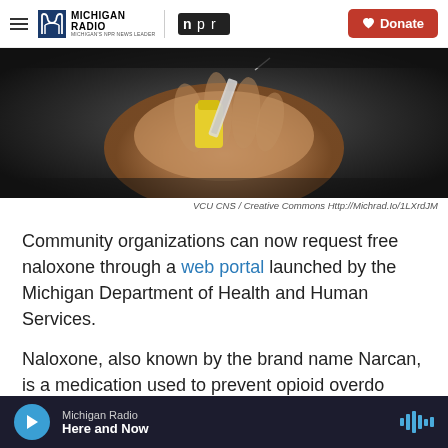Michigan Radio / NPR | Donate
[Figure (photo): A hand holding a yellow-capped syringe, close-up dark background photo]
VCU CNS / Creative Commons Http://Michrad.Io/1LXrdJM
Community organizations can now request free naloxone through a web portal launched by the Michigan Department of Health and Human Services.
Naloxone, also known by the brand name Narcan, is a medication used to prevent opioid overdo
Michigan Radio — Here and Now